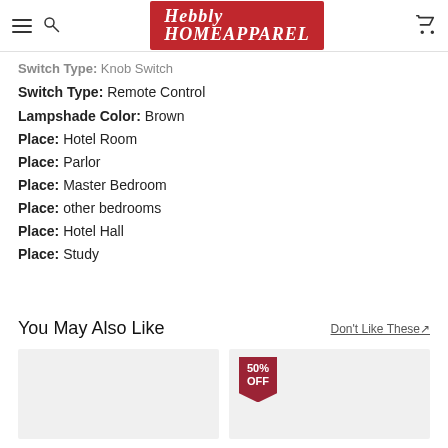Hebbly
Switch Type: Knob Switch
Switch Type: Remote Control
Lampshade Color: Brown
Place: Hotel Room
Place: Parlor
Place: Master Bedroom
Place: other bedrooms
Place: Hotel Hall
Place: Study
You May Also Like
Don't Like These↗
[Figure (photo): Product card placeholder image (gray background), left card]
[Figure (photo): Product card placeholder image (gray background) with 50% OFF badge, right card]